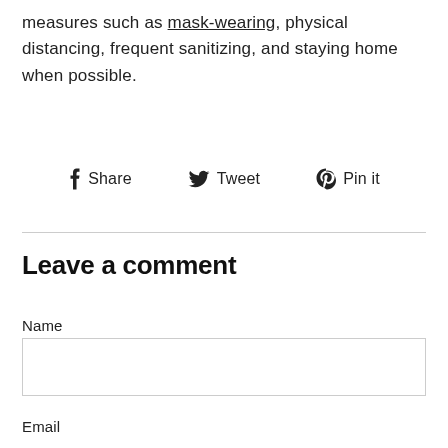measures such as mask-wearing, physical distancing, frequent sanitizing, and staying home when possible.
Share  Tweet  Pin it
Leave a comment
Name
Email